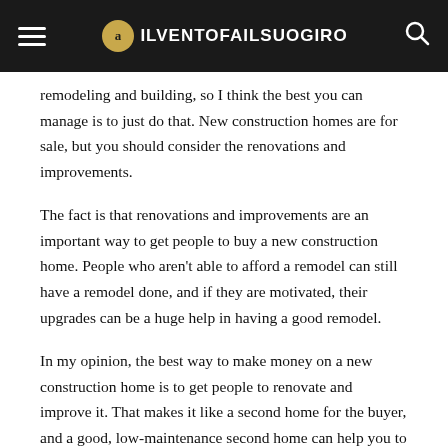ILVENTOFAILSUOGIRO
remodeling and building, so I think the best you can manage is to just do that. New construction homes are for sale, but you should consider the renovations and improvements.
The fact is that renovations and improvements are an important way to get people to buy a new construction home. People who aren't able to afford a remodel can still have a remodel done, and if they are motivated, their upgrades can be a huge help in having a good remodel.
In my opinion, the best way to make money on a new construction home is to get people to renovate and improve it. That makes it like a second home for the buyer, and a good, low-maintenance second home can help you to make money on your construction company if you do things right.